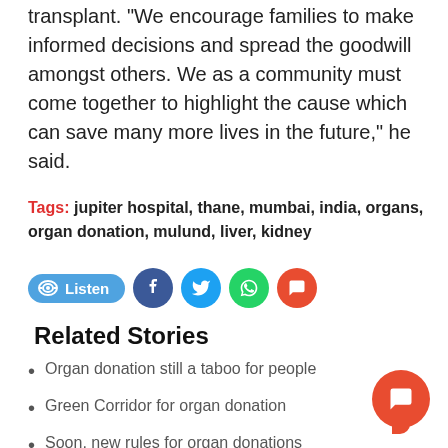transplant. "We encourage families to make informed decisions and spread the goodwill amongst others. We as a community must come together to highlight the cause which can save many more lives in the future," he said.
Tags: jupiter hospital, thane, mumbai, india, organs, organ donation, mulund, liver, kidney
[Figure (other): Social sharing bar with Listen button, Facebook, Twitter, WhatsApp, and Comment icons]
Related Stories
Organ donation still a taboo for people
Green Corridor for organ donation
Soon, new rules for organ donations